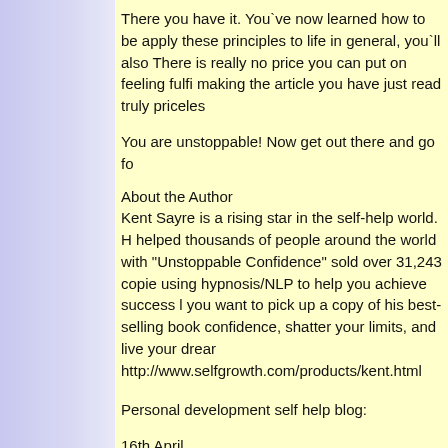There you have it. You`ve now learned how to be apply these principles to life in general, you`ll also There is really no price you can put on feeling fulfi making the article you have just read truly priceles
You are unstoppable! Now get out there and go fo
About the Author
Kent Sayre is a rising star in the self-help world. H helped thousands of people around the world with "Unstoppable Confidence" sold over 31,243 copie using hypnosis/NLP to help you achieve success l you want to pick up a copy of his best-selling book confidence, shatter your limits, and live your drear http://www.selfgrowth.com/products/kent.html
Personal development self help blog:
16th April
Dress for Health! Creative Ways to Make Wellness By Colleen Langenfeld
Every morning you get dressed, right?